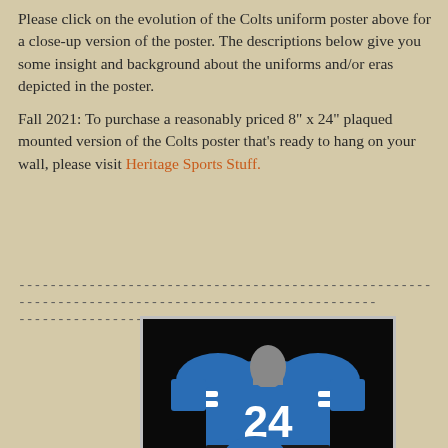Please click on the evolution of the Colts uniform poster above for a close-up version of the poster. The descriptions below give you some insight and background about the uniforms and/or eras depicted in the poster.
Fall 2021: To purchase a reasonably priced 8" x 24" plaqued mounted version of the Colts poster that's ready to hang on your wall, please visit Heritage Sports Stuff.
---------------------------------------------------------------------------------------------------
-------------------
[Figure (photo): A blue football jersey with number 24 in white, displayed on a mannequin against a black background. The jersey has white stripes on the sleeves.]